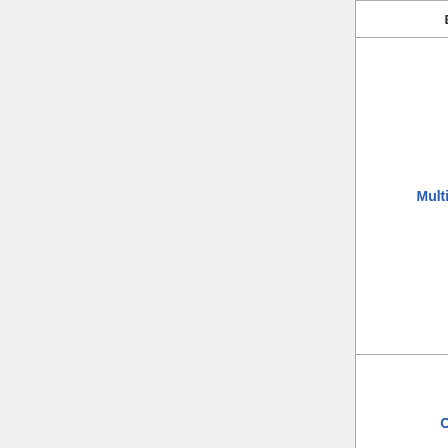| Extension | Version | License |
| --- | --- | --- |
| MultimediaViewer | – | GPL-2.0-or-later |
| OATHAuth | 0.4.4 | GPL-2.0-or-later |